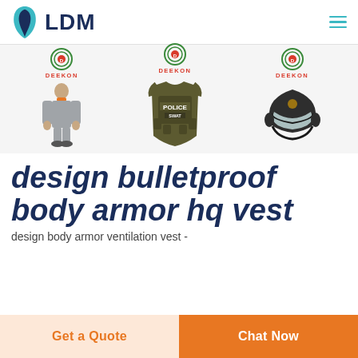LDM
[Figure (photo): Three product images with DEEKON branding: a grey work suit/coverall worn by a person, a military/police bulletproof vest labeled POLICE, and a ballistic riot helmet]
design bulletproof body armor hq vest
design body armor ventilation vest -